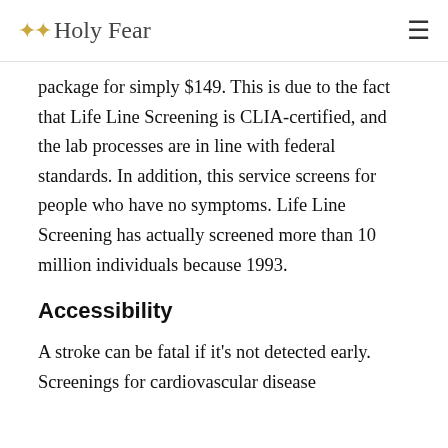✦✦ Holy Fear
package for simply $149. This is due to the fact that Life Line Screening is CLIA-certified, and the lab processes are in line with federal standards. In addition, this service screens for people who have no symptoms. Life Line Screening has actually screened more than 10 million individuals because 1993.
Accessibility
A stroke can be fatal if it's not detected early. Screenings for cardiovascular disease